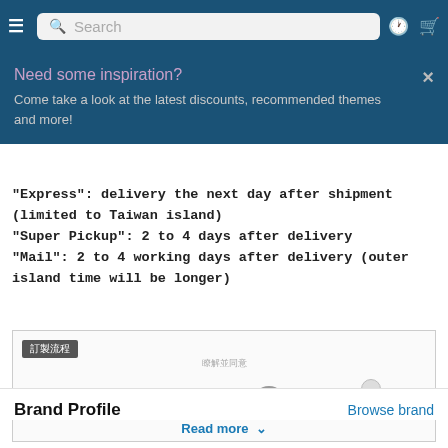Navigation bar with hamburger menu, search bar, history and cart icons
Need some inspiration?
Come take a look at the latest discounts, recommended themes and more!
"Express": delivery the next day after shipment (limited to Taiwan island)
"Super Pickup": 2 to 4 days after delivery
"Mail": 2 to 4 working days after delivery (outer island time will be longer)
[Figure (screenshot): Custom order process diagram showing steps in Chinese: 選走商品, 閱讀商品敘述, 瞭解並同意, 我要訂製. The current active step is highlighted with a circle icon.]
Read more
Brand Profile
Browse brand